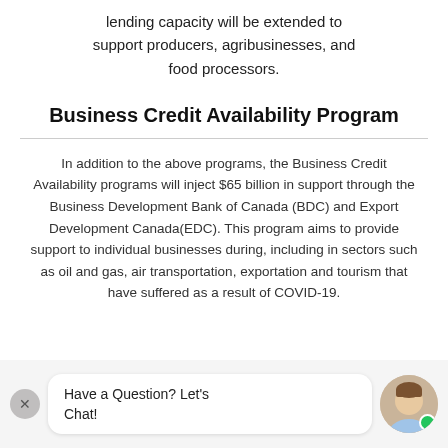lending capacity will be extended to support producers, agribusinesses, and food processors.
Business Credit Availability Program
In addition to the above programs, the Business Credit Availability programs will inject $65 billion in support through the Business Development Bank of Canada (BDC) and Export Development Canada(EDC). This program aims to provide support to individual businesses during, including in sectors such as oil and gas, air transportation, exportation and tourism that have suffered as a result of COVID-19.
Have a Question? Let's Chat!